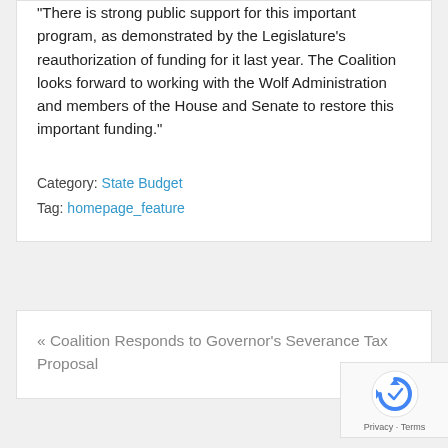“There is strong public support for this important program, as demonstrated by the Legislature’s reauthorization of funding for it last year. The Coalition looks forward to working with the Wolf Administration and members of the House and Senate to restore this important funding.”
Category: State Budget
Tag: homepage_feature
« Coalition Responds to Governor’s Severance Tax Proposal